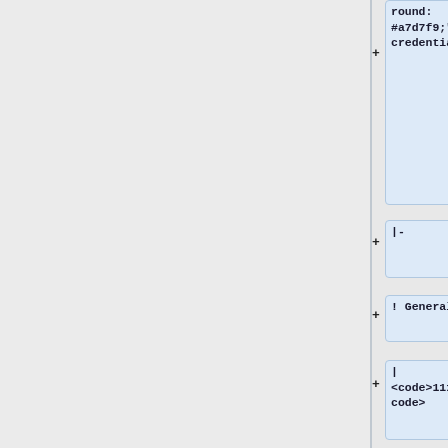round:
#a7d7f9;"| Default credentials
|-
! General
|
<code>1111</code>
|-
! sxmo
|
<code>user/1111</code>
|-
! Manjaro
| seems to